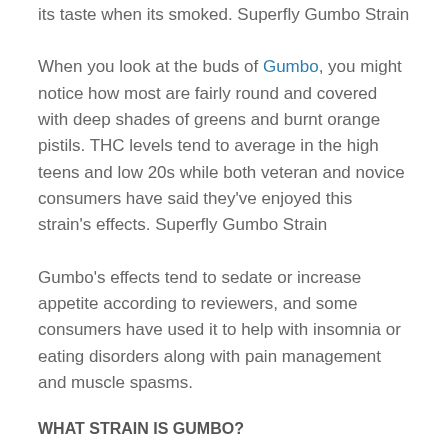its taste when its smoked. Superfly Gumbo Strain
When you look at the buds of Gumbo, you might notice how most are fairly round and covered with deep shades of greens and burnt orange pistils. THC levels tend to average in the high teens and low 20s while both veteran and novice consumers have said they've enjoyed this strain's effects. Superfly Gumbo Strain
Gumbo's effects tend to sedate or increase appetite according to reviewers, and some consumers have used it to help with insomnia or eating disorders along with pain management and muscle spasms.
WHAT STRAIN IS GUMBO?
Gumbo Strain is an indica dominant hybrid 65% Indica